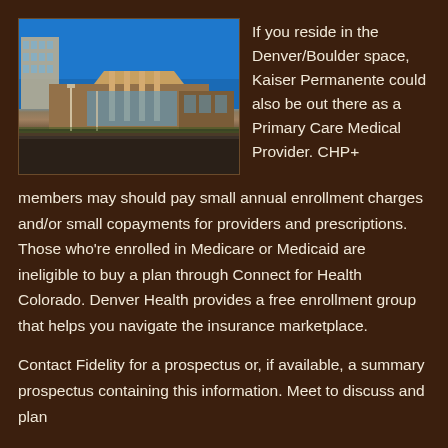[Figure (photo): Exterior photograph of a Kaiser Permanente or similar medical facility building with blue sky background, showing a modern healthcare campus with brick and glass architecture.]
If you reside in the Denver/Boulder space, Kaiser Permanente could also be out there as a Primary Care Medical Provider. CHP+ members may should pay small annual enrollment charges and/or small copayments for providers and prescriptions. Those who're enrolled in Medicare or Medicaid are ineligible to buy a plan through Connect for Health Colorado. Denver Health provides a free enrollment group that helps you navigate the insurance marketplace.
Contact Fidelity for a prospectus or, if available, a summary prospectus containing this information. Meet to discuss and plan